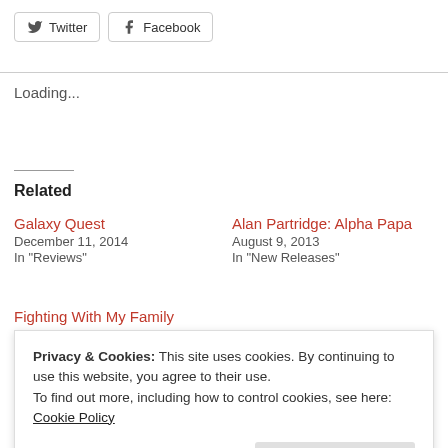[Figure (other): Twitter social share button]
[Figure (other): Facebook social share button]
Loading...
Related
Galaxy Quest
December 11, 2014
In "Reviews"
Alan Partridge: Alpha Papa
August 9, 2013
In "New Releases"
Fighting With My Family
March 5, 2019
Privacy & Cookies: This site uses cookies. By continuing to use this website, you agree to their use.
To find out more, including how to control cookies, see here: Cookie Policy
Close and accept